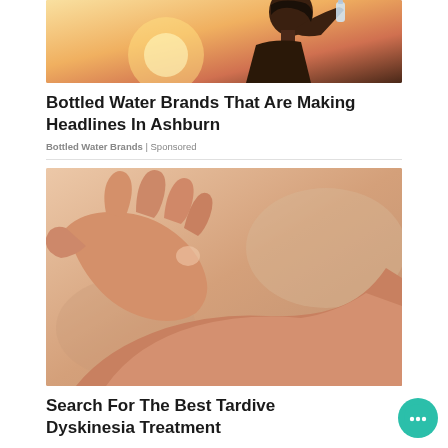[Figure (photo): Person drinking from a water bottle against a sunset background]
Bottled Water Brands That Are Making Headlines In Ashburn
Bottled Water Brands | Sponsored
[Figure (photo): Close-up of hands, one hand touching the other wrist against a beige/peach background]
Search For The Best Tardive Dyskinesia Treatment